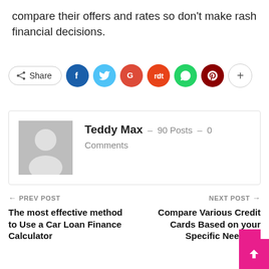compare their offers and rates so don't make rash financial decisions.
[Figure (infographic): Social share buttons row: Share button, Facebook, Twitter, Google+, Reddit, WhatsApp, Pinterest, More (+)]
Teddy Max – 90 Posts – 0 Comments
← PREV POST
The most effective method to Use a Car Loan Finance Calculator
NEXT POST →
Compare Various Credit Cards Based on your Specific Need